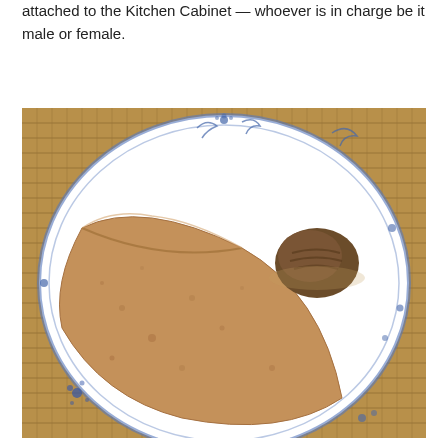attached to the Kitchen Cabinet — whoever is in charge be it male or female.
[Figure (photo): A white plate with blue floral decorative border on a wicker/rattan surface. On the plate is a folded brown flatbread/dosa (triangular/half-moon shaped) and a small mound of dark brown chutney or paste.]